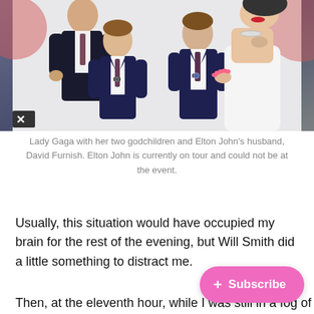[Figure (photo): Lady Gaga with her two godchildren (boys in navy suits with ties) and David Furnish (in dark suit), posing together. Background has pink/red circular logo elements. Watermark 'K' symbol at bottom left.]
Lady Gaga with her two godchildren and Elton John's husband, David Furnish. Elton John is currently on tour and could not be at the event.
Usually, this situation would have occupied my brain for the rest of the evening, but Will Smith did a little something to distract me.
Then, at the eleventh hour, while I was still in a fog of Smith disbelief, Lada Gaga appeare[d with] Liza Minnelli.